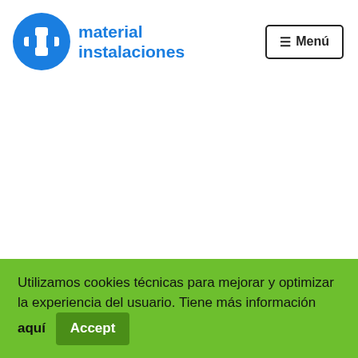[Figure (logo): Material Instalaciones logo: blue circle with white pipe/fitting icon and blue bold text 'material instalaciones']
≡ Menú
Inicio · ACCESORIOS PVC · AEC12 – CODOS PVC – 75 – 87°
Utilizamos cookies técnicas para mejorar y optimizar la experiencia del usuario. Tiene más información aquí
Accept